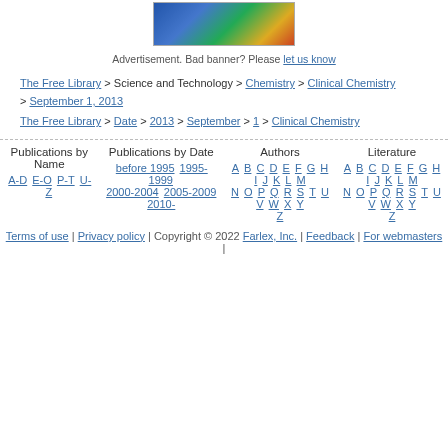[Figure (photo): Book covers advertisement image for Farlex International publications]
Advertisement. Bad banner? Please let us know
The Free Library > Science and Technology > Chemistry > Clinical Chemistry > September 1, 2013
The Free Library > Date > 2013 > September > 1 > Clinical Chemistry
Publications by Name  A-D E-O P-T U-Z
Publications by Date  before 1995 1995-1999 2000-2004 2005-2009 2010-
Authors  A B C D E F G H I J K L M N O P Q R S T U V W X Y Z
Literature  A B C D E F G H I J K L M N O P Q R S T U V W X Y Z
Terms of use | Privacy policy | Copyright © 2022 Farlex, Inc. | Feedback | For webmasters |